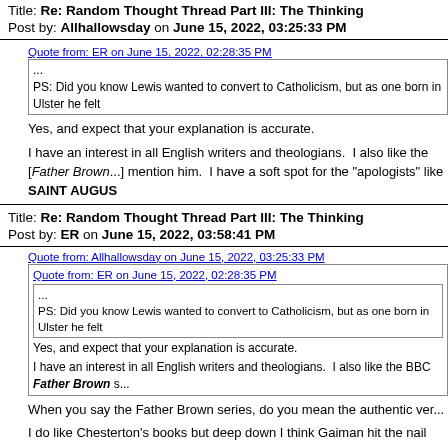Title: Re: Random Thought Thread Part III: The Thinking
Post by: Allhallowsday on June 15, 2022, 03:25:33 PM
Quote from: ER on June 15, 2022, 02:28:35 PM
...
PS: Did you know Lewis wanted to convert to Catholicism, but as one born in Ulster he felt
Yes, and expect that your explanation is accurate.
I have an interest in all English writers and theologians.  I also like the [BBC Father Brown s...] mention him.  I have a soft spot for the "apologists" like SAINT AUGUS...
Title: Re: Random Thought Thread Part III: The Thinking
Post by: ER on June 15, 2022, 03:58:41 PM
Quote from: Allhallowsday on June 15, 2022, 03:25:33 PM
Quote from: ER on June 15, 2022, 02:28:35 PM
...
PS: Did you know Lewis wanted to convert to Catholicism, but as one born in Ulster he felt
Yes, and expect that your explanation is accurate.
I have an interest in all English writers and theologians.  I also like the BBC Father Brown s...
When you say the Father Brown series, do you mean the authentic ver...
I do like Chesterton's books but deep down I think Gaiman hit the nail o...
Ever seen The Apostle of Common Sense series done on EWTN in the...
Title: Re: Random Thought Thread Part III: The Thinki...